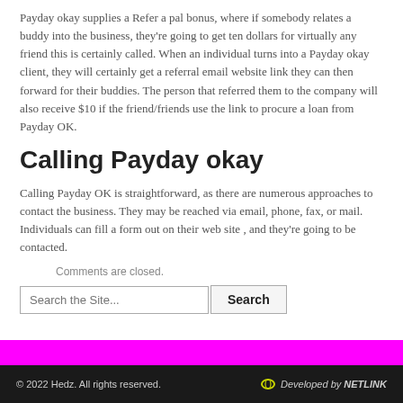Payday okay supplies a Refer a pal bonus, where if somebody relates a buddy into the business, they're going to get ten dollars for virtually any friend this is certainly called. When an individual turns into a Payday okay client, they will certainly get a referral email website link they can then forward for their buddies. The person that referred them to the company will also receive $10 if the friend/friends use the link to procure a loan from Payday OK.
Calling Payday okay
Calling Payday OK is straightforward, as there are numerous approaches to contact the business. They may be reached via email, phone, fax, or mail. Individuals can fill a form out on their web site , and they're going to be contacted.
Comments are closed.
© 2022 Hedz. All rights reserved.   Developed by NETLINK